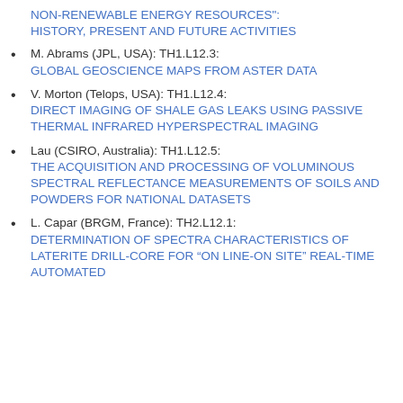NON-RENEWABLE ENERGY RESOURCES": HISTORY, PRESENT AND FUTURE ACTIVITIES
M. Abrams (JPL, USA): TH1.L12.3: GLOBAL GEOSCIENCE MAPS FROM ASTER DATA
V. Morton (Telops, USA): TH1.L12.4: DIRECT IMAGING OF SHALE GAS LEAKS USING PASSIVE THERMAL INFRARED HYPERSPECTRAL IMAGING
Lau (CSIRO, Australia): TH1.L12.5: THE ACQUISITION AND PROCESSING OF VOLUMINOUS SPECTRAL REFLECTANCE MEASUREMENTS OF SOILS AND POWDERS FOR NATIONAL DATASETS
L. Capar (BRGM, France): TH2.L12.1: DETERMINATION OF SPECTRA CHARACTERISTICS OF LATERITE DRILL-CORE FOR “ON LINE-ON SITE” REAL-TIME AUTOMATED